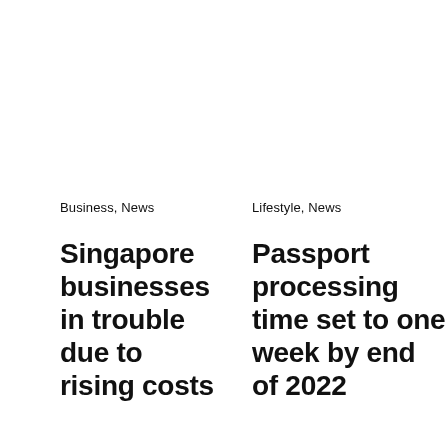Business, News
Singapore businesses in trouble due to rising costs
Lifestyle, News
Passport processing time set to one week by end of 2022